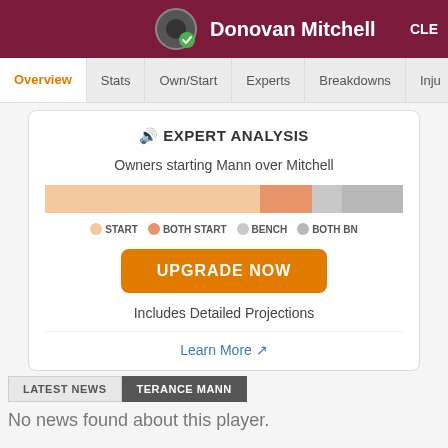Donovan Mitchell CLE
Overview | Stats | Own/Start | Experts | Breakdowns | Inju...
🔊 EXPERT ANALYSIS
Owners starting Mann over Mitchell
[Figure (stacked-bar-chart): Owners starting Mann over Mitchell]
UPGRADE NOW
Includes Detailed Projections
Learn More ↗
LATEST NEWS   TERANCE MANN
No news found about this player.